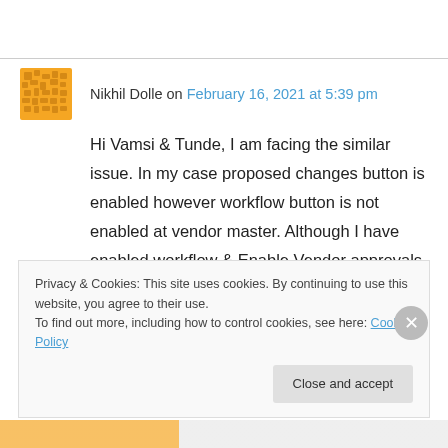Nikhil Dolle on February 16, 2021 at 5:39 pm
Hi Vamsi & Tunde, I am facing the similar issue. In my case proposed changes button is enabled however workflow button is not enabled at vendor master. Although I have enabled workflow & Enable Vendor approvals marked with condition for method of payment
Privacy & Cookies: This site uses cookies. By continuing to use this website, you agree to their use.
To find out more, including how to control cookies, see here: Cookie Policy
Close and accept